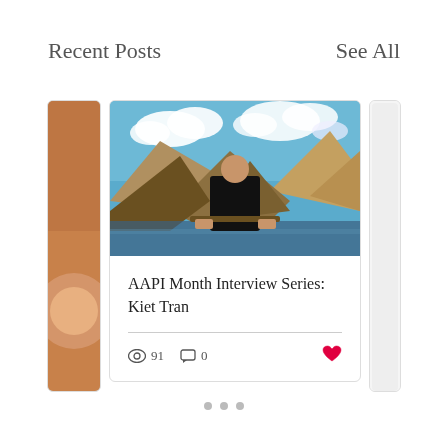Recent Posts
See All
[Figure (photo): Man in black t-shirt standing in front of a mountainous landscape with blue sky and clouds]
AAPI Month Interview Series: Kiet Tran
91  0
• • •